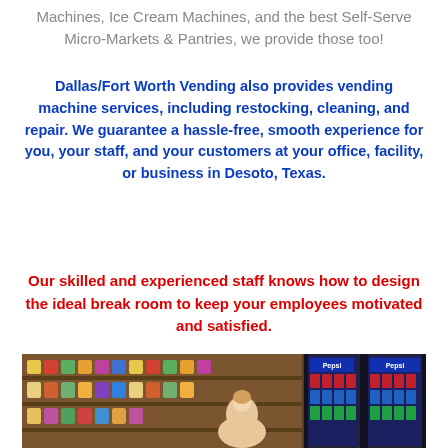Machines, Ice Cream Machines, and the best Self-Serve Micro-Markets & Pantries, we provide those too!
Dallas/Fort Worth Vending also provides vending machine services, including restocking, cleaning, and repair. We guarantee a hassle-free, smooth experience for you, your staff, and your customers at your office, facility, or business in Desoto, Texas.
Our skilled and experienced staff knows how to design the ideal break room to keep your employees motivated and satisfied.
[Figure (photo): Interior photo of a micro-market or break room showing shelves stocked with snacks and two Pepsi refrigerators with beverages, and a person visible in the foreground.]